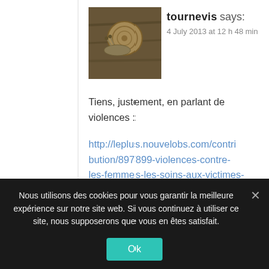[Figure (photo): Avatar photo of user 'tournevis', showing a small animal (snail or similar) on bark, approximately 120x120px square thumbnail]
tournevis says:
4 July 2013 at 12 h 48 min
Tiens, justement, en parlant de violences :
http://leplus.nouvelobs.com/contribution/897899-violences-contre-les-femmes-les-soins-aux-victimes-eternels-oublies-des-politiques.html
Reply
Nous utilisons des cookies pour vous garantir la meilleure expérience sur notre site web. Si vous continuez à utiliser ce site, nous supposerons que vous en êtes satisfait.
Ok